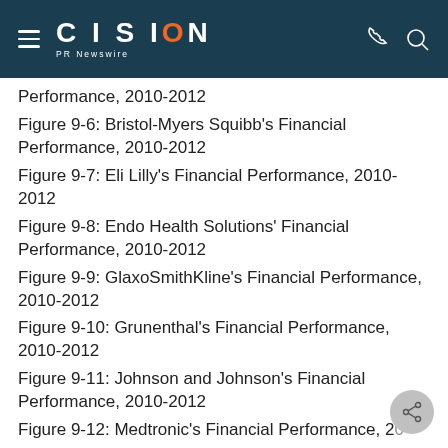CISION PR Newswire
Performance, 2010-2012
Figure 9-6: Bristol-Myers Squibb's Financial Performance, 2010-2012
Figure 9-7: Eli Lilly's Financial Performance, 2010-2012
Figure 9-8: Endo Health Solutions' Financial Performance, 2010-2012
Figure 9-9: GlaxoSmithKline's Financial Performance, 2010-2012
Figure 9-10: Grunenthal's Financial Performance, 2010-2012
Figure 9-11: Johnson and Johnson's Financial Performance, 2010-2012
Figure 9-12: Medtronic's Financial Performance, 2...